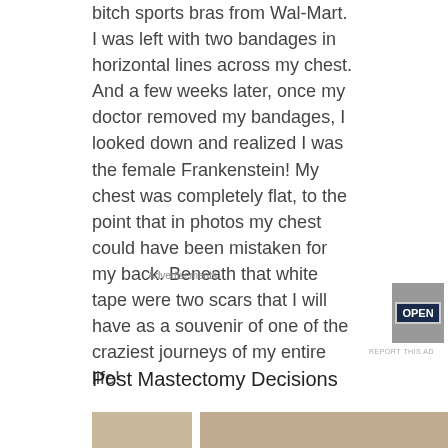bitch sports bras from Wal-Mart. I was left with two bandages in horizontal lines across my chest. And a few weeks later, once my doctor removed my bandages, I looked down and realized I was the female Frankenstein! My chest was completely flat, to the point that in photos my chest could have been mistaken for my back. Beneath that white tape were two scars that I will have as a souvenir of one of the craziest journeys of my entire life!
[Figure (screenshot): Advertisement banner: Pressable WordPress Hosting That Means Business, with an OPEN sign image on the right]
REPORT THIS AD
Post Mastectomy Decisions
[Figure (photo): Partial view of a photo showing a person, cropped at bottom of page]